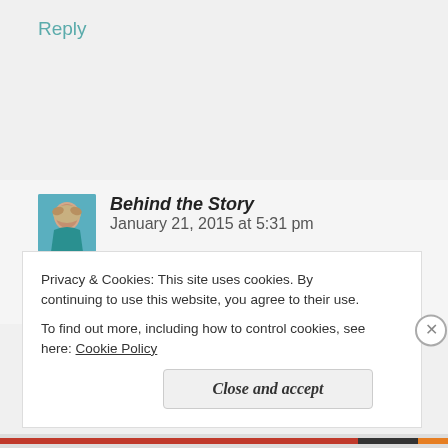Reply
Behind the Story  January 21, 2015 at 5:31 pm
I followed a link from Chris the Story Reading Ape to
Privacy & Cookies: This site uses cookies. By continuing to use this website, you agree to their use.
To find out more, including how to control cookies, see here: Cookie Policy
Close and accept